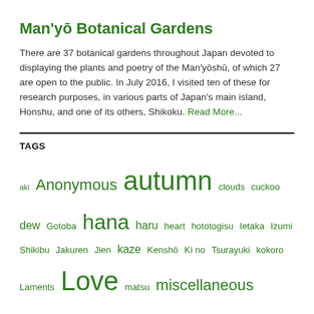Man'yō Botanical Gardens
There are 37 botanical gardens throughout Japan devoted to displaying the plants and poetry of the Man'yōshū, of which 27 are open to the public. In July 2016, I visited ten of these for research purposes, in various parts of Japan's main island, Honshu, and one of its others, Shikoku. Read More...
TAGS
aki Anonymous autumn clouds cuckoo dew Gotoba hana haru heart hototogisu Ietaka Izumi Shikibu Jakuren Jien kaze Kenshō Ki no Tsurayuki kokoro Laments Love matsu miscellaneous moon pines Sada'ie Saigyō Sanekata sleeves snow sode Spring